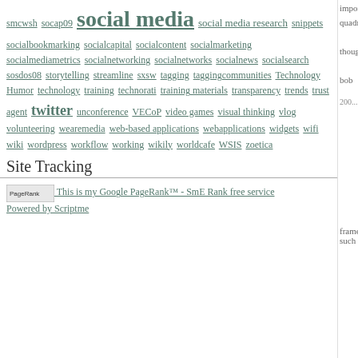smcwsh  socap09  social media  social media research  snippets  socialbookmarking  socialcapital  socialcontent  socialmarketing  socialmediametrics  socialnetworking  socialnetworks  socialnews  socialsearch  sosdos08  storytelling  streamline  sxsw  tagging  taggingcommunities  Technology Humor  technology  training  technorati  training materials  transparency  trends  trust agent  twitter  unconference  VECoP  video games  visual thinking  vlog  volunteering  wearemedia  web-based applications  webapplications  widgets  wifi  wiki  wordpress  workflow  working  wikily  worldcafe  WSIS  zoetica
Site Tracking
[Figure (screenshot): Google PageRank badge - SmE Rank free service Powered by Scriptme]
importance. The origin of this quadrant would be high importan...
Your article provoked thought an...
bob
Posted by: bob ashley | October 01, 200...
[Figure (illustration): Teal/green circular leaf pattern avatar image]
Beth -
Thank you for this! I was just in a... water -- and they asked exactly th... with them.

And to me, your time estimates le... should engage in a process (beau... media will play to further their or...

Anne
Posted by: Anne | October 01, 2008 at 0...
[Figure (illustration): Green mosaic/voronoi pattern avatar image]
Thanks for an interesting framew... it's a great piece to spur such ana...
Posted by: Jeffrey Levy | October 01, 2...